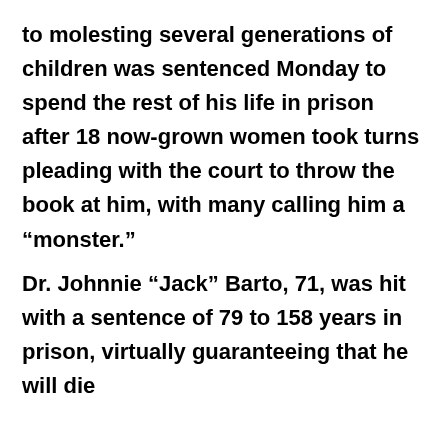to molesting several generations of children was sentenced Monday to spend the rest of his life in prison after 18 now-grown women took turns pleading with the court to throw the book at him, with many calling him a “monster.” Dr. Johnnie “Jack” Barto, 71, was hit with a sentence of 79 to 158 years in prison, virtually guaranteeing that he will die